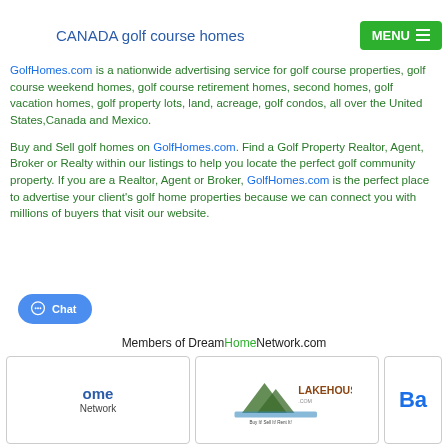CANADA golf course homes  MENU
GolfHomes.com is a nationwide advertising service for golf course properties, golf course weekend homes, golf course retirement homes, second homes, golf vacation homes, golf property lots, land, acreage, golf condos, all over the United States,Canada and Mexico.
Buy and Sell golf homes on GolfHomes.com. Find a Golf Property Realtor, Agent, Broker or Realty within our listings to help you locate the perfect golf community property. If you are a Realtor, Agent or Broker, GolfHomes.com is the perfect place to advertise your client's golf home properties because we can connect you with millions of buyers that visit our website.
Members of DreamHomeNetwork.com
[Figure (logo): DreamHome Network logo]
[Figure (logo): LakeHouse.com logo - Buy It! Sell It! Rent It!]
[Figure (logo): Ba... partial logo]